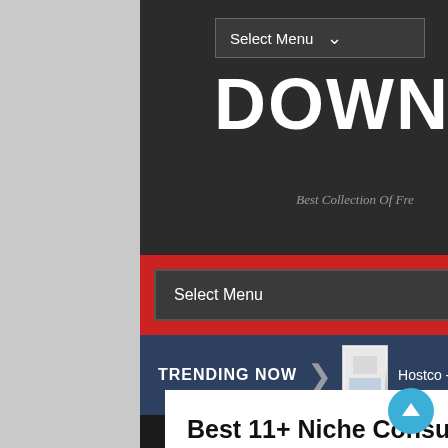[Figure (screenshot): Screenshot of a website interface showing a dark header with Select Menu dropdown, date Saturday 3, Sep 2022, large site title DOWNL (truncated), subtitle Best Collection Of Fre (truncated), a red navigation bar with Select Menu dropdown, a trending now bar with an arrow icon, thumbnail image, and text Hostco - Web Hosting H (truncated), a dark separator, and a white content card with article title and text.]
DOWNL
Best Collection Of Fre
Saturday 3, Sep 2022
Best 11+ Niche Consulting Business Premium WordPress Theme
Envolve is a clean, elegant and modern design responsive multipurpose premium WordPress theme for business, consulting, corporate, software, finance, law firm, insurance, psychologist, auto